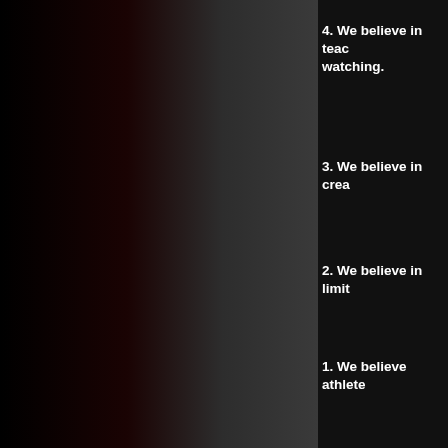[Figure (photo): Dark gradient background panel on the left side of the page, transitioning from black to dark brownish-red to dark gray]
4. We believe in teac… watching.
3. We believe in crea…
2. We believe in limit…
1. We believe athlete…
RE
We offer a variety of … Gymnastics, Girls Gy… Dancer Tumbling Tra…
Contact Coach Vicki…
[Figure (photo): Partial photo visible at bottom right, showing a person, bordered in red]